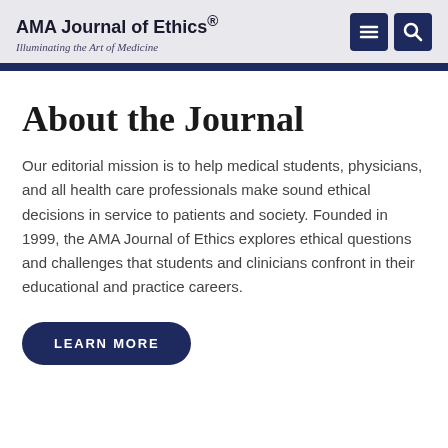AMA Journal of Ethics® — Illuminating the Art of Medicine
About the Journal
Our editorial mission is to help medical students, physicians, and all health care professionals make sound ethical decisions in service to patients and society. Founded in 1999, the AMA Journal of Ethics explores ethical questions and challenges that students and clinicians confront in their educational and practice careers.
LEARN MORE